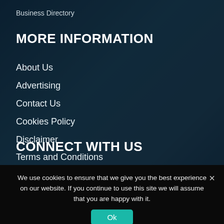Business Directory
MORE INFORMATION
About Us
Advertising
Contact Us
Cookies Policy
Disclaimer
Terms and Conditions
CONNECT WITH US
We use cookies to ensure that we give you the best experience on our website. If you continue to use this site we will assume that you are happy with it.